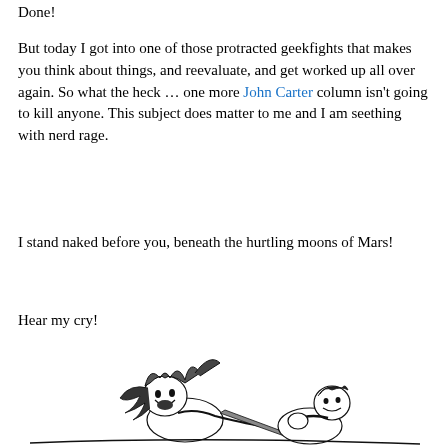Done!
But today I got into one of those protracted geekfights that makes you think about things, and reevaluate, and get worked up all over again. So what the heck … one more John Carter column isn't going to kill anyone. This subject does matter to me and I am seething with nerd rage.
I stand naked before you, beneath the hurtling moons of Mars!
Hear my cry!
[Figure (illustration): Black and white ink illustration showing two figures in combat — one wearing a horned helmet appearing to be an alien warrior, and another muscular figure (John Carter), drawn in classic sword-and-planet style]